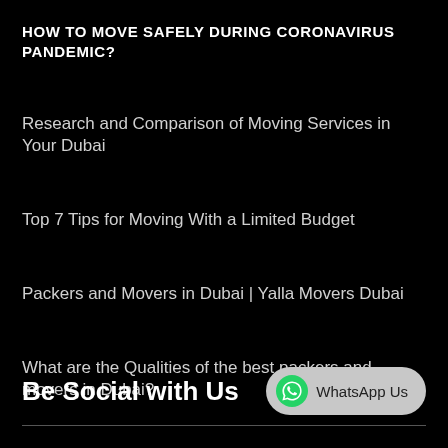HOW TO MOVE SAFELY DURING CORONAVIRUS PANDEMIC?
Research and Comparison of Moving Services in Your Dubai
Top 7 Tips for Moving With a Limited Budget
Packers and Movers in Dubai | Yalla Movers Dubai
What are the Qualities of the best packers and movers in Dubai?
Be Social with Us
WhatsApp Us